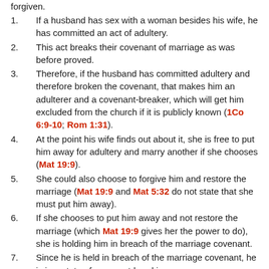forgiven.
1.   If a husband has sex with a woman besides his wife, he has committed an act of adultery.
2.   This act breaks their covenant of marriage as was before proved.
3.   Therefore, if the husband has committed adultery and therefore broken the covenant, that makes him an adulterer and a covenant-breaker, which will get him excluded from the church if it is publicly known (1Co 6:9-10; Rom 1:31).
4.   At the point his wife finds out about it, she is free to put him away for adultery and marry another if she chooses (Mat 19:9).
5.   She could also choose to forgive him and restore the marriage (Mat 19:9 and Mat 5:32 do not state that she must put him away).
6.   If she chooses to put him away and not restore the marriage (which Mat 19:9 gives her the power to do), she is holding him in breach of the marriage covenant.
7.   Since he is held in breach of the marriage covenant, he is in a state of covenant-breaking.
8.   Since adultery is the only thing that breaches the marriage covenant, by implication this means he must...